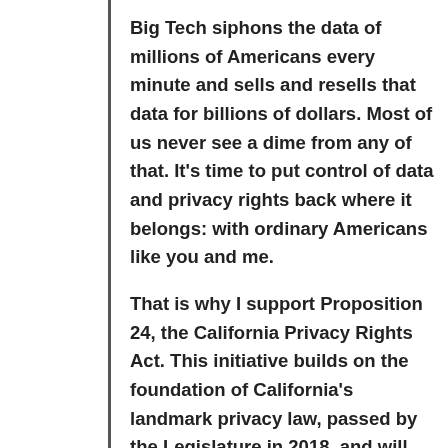Big Tech siphons the data of millions of Americans every minute and sells and resells that data for billions of dollars. Most of us never see a dime from any of that. It's time to put control of data and privacy rights back where it belongs: with ordinary Americans like you and me.
That is why I support Proposition 24, the California Privacy Rights Act. This initiative builds on the foundation of California's landmark privacy law, passed by the Legislature in 2018, and will provide even greater data control and privacy protection to Californians if it passes. It includes strong measures, such as the creation of a new consumer protection agency to be a watchdog over big tech, and expands on the tools